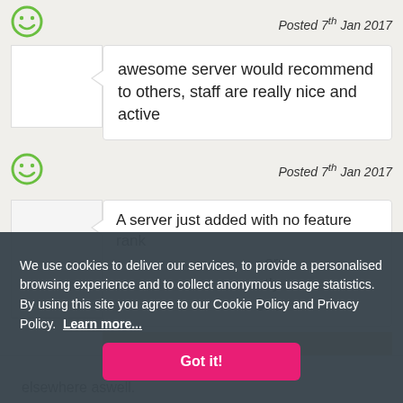[Figure (illustration): Green smiley face icon at top]
Posted 7th Jan 2017
awesome server would recommend to others, staff are really nice and active
[Figure (illustration): Green smiley face icon]
Posted 7th Jan 2017
A server just added with no feature rank ...ore ...tly ...or a
We use cookies to deliver our services, to provide a personalised browsing experience and to collect anonymous usage statistics. By using this site you agree to our Cookie Policy and Privacy Policy. Learn more...
Got it!
ising elsewhere aswell.